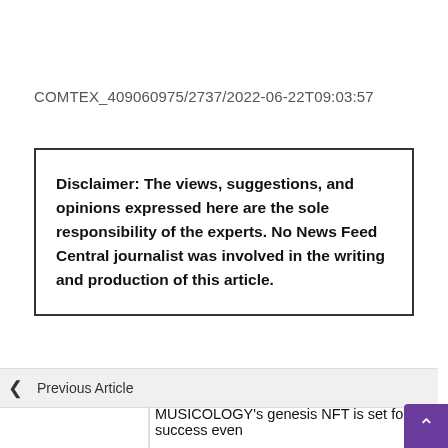COMTEX_409060975/2737/2022-06-22T09:03:57
Disclaimer: The views, suggestions, and opinions expressed here are the sole responsibility of the experts. No News Feed Central journalist was involved in the writing and production of this article.
< Previous Article
MUSICOLOGY's genesis NFT is set for success even